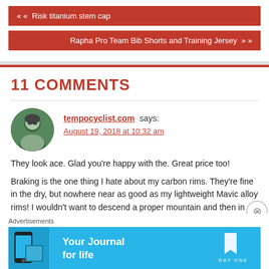« Risk titanium stem cap
Rapha Pro Team Bib Shorts and Training Jersey »
11 COMMENTS
tempocyclist.com says:
August 19, 2018 at 10:32 am
They look ace. Glad you're happy with the. Great price too!
Braking is the one thing I hate about my carbon rims. They're fine in the dry, but nowhere near as good as my lightweight Mavic alloy rims! I wouldn't want to descend a proper mountain and then in the wet, forget it!
Advertisements
[Figure (screenshot): Day One app advertisement banner - Your Journal for life]